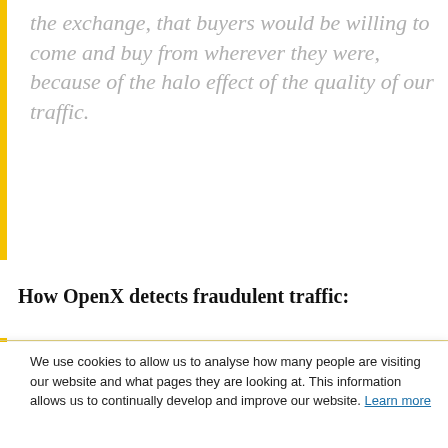the exchange, that buyers would be willing to come and buy from wherever they were, because of the halo effect of the quality of our traffic.
How OpenX detects fraudulent traffic:
We use cookies to allow us to analyse how many people are visiting our website and what pages they are looking at. This information allows us to continually develop and improve our website. Learn more
If you decline, your information won't be tracked when you visit this website. A single cookie will be used in your browser to remember your preference not to be tracked.